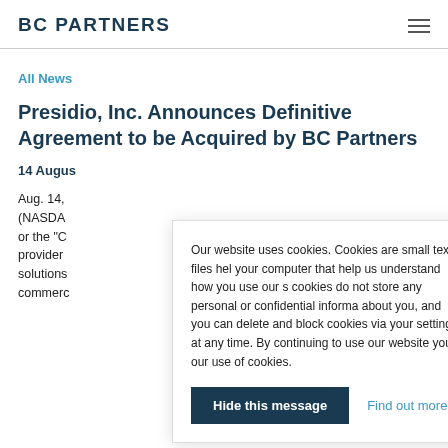BC PARTNERS
All News
Presidio, Inc. Announces Definitive Agreement to be Acquired by BC Partners
14 August
Aug. 14, (NASDA or the "C provider solutions commerc
Our website uses cookies. Cookies are small text files hel your computer that help us understand how you use our s cookies do not store any personal or confidential informa about you, and you can delete and block cookies via your settings at any time. By continuing to use our website you our use of cookies.
Hide this message
Find out more about cookies